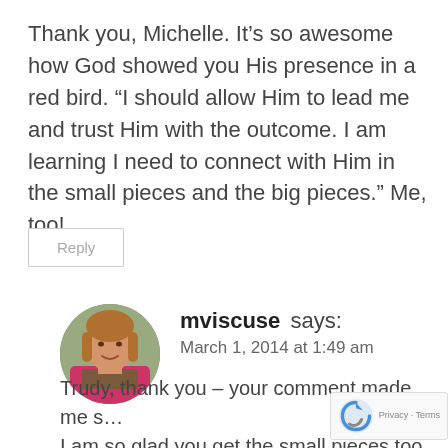Thank you, Michelle. It’s so awesome how God showed you His presence in a red bird. “I should allow Him to lead me and trust Him with the outcome. I am learning I need to connect with Him in the small pieces and the big pieces.” Me, too!
Reply
[Figure (photo): Circular avatar photo of a smiling woman with long reddish-brown hair wearing a pink top and scarf, outdoors with blurred background.]
mviscuse says: March 1, 2014 at 1:49 am
Trudy, thank you – your comment made me s… I am so glad you get the small pieces too. Th… small pieces are huge!